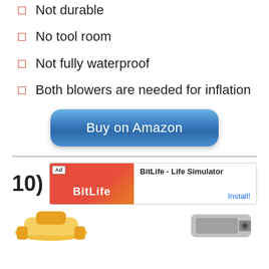Not durable
No tool room
Not fully waterproof
Both blowers are needed for inflation
[Figure (other): Buy on Amazon button]
[Figure (other): Advertisement banner for BitLife - Life Simulator with Install button]
10)
[Figure (photo): Two product images at bottom of page]